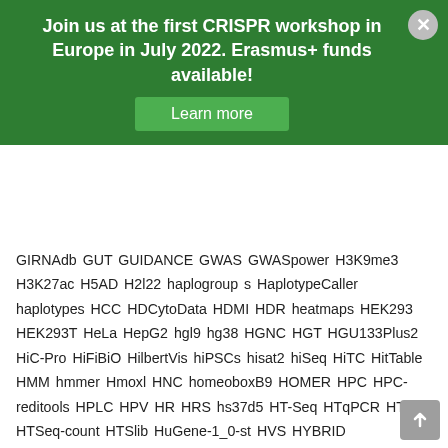Join us at the first CRISPR workshop in Europe in July 2022. Erasmus+ funds available!
Learn more
GIRNAdb GUT GUIDANCE GWAS GWASpower H3K9me3 H3K27ac H5AD H2l22 haplogroup s HaplotypeCaller haplotypes HCC HDCytoData HDMI HDR heatmaps HEK293 HEK293T HeLa HepG2 hgl9 hg38 HGNC HGT HGU133Plus2 HiC-Pro HiFiBiO HilbertVis hiPSCs hisat2 hiSeq HiTC HitTable HMM hmmer Hmoxl HNC homeoboxB9 HOMER HPC HPC-reditools HPLC HPV HR HRS hs37d5 HT-Seq HTqPCR HTseq HTSeq-count HTSlib HuGene-1_0-st HVS HYBRID hypergravitropic I-TASSER IC50 ICA ICAR ICheckpointHelperClient iCOMIC IDbyDNA IDR IEEE IgG IGM ignoreTxVersion IGV IJMS IL-2R ILMN ImdSession Impl IMPUTE2 indel InferCNV iNMF install.packages IntegraGen Integrated Genome Browser InterMine InterPro InterProScan intronsByTranscript IOError ION torrent IP-MS ipdsummary iPSC iPSCs ischemia-reperfusion ISD iseq iso-seq iTOL JASPAR Java javascript jbrowse jobRxiv Jquery json JSON Schema JunctionSeq junk DNA Jupyter jupyterhub K-mer k-smoothing K562 kaggle KaryoploteR kegg Kernel KeyError kissplice KO Kraken2 KRAS KRASG12C KSpace kubernetes L2FC L4D2 LABGeM LabKey Server LAMMPS LAMP LaTeX LD LDDT LFfse LentiCRISPR LentiCRISPRv2